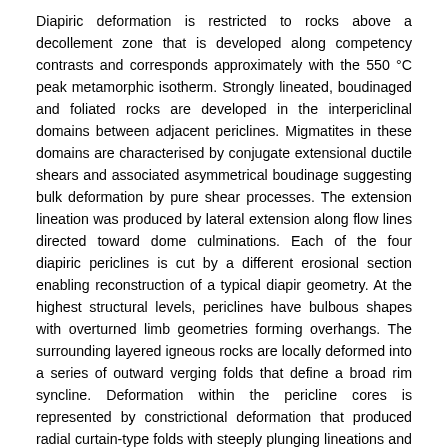Diapiric deformation is restricted to rocks above a decollement zone that is developed along competency contrasts and corresponds approximately with the 550 °C peak metamorphic isotherm. Strongly lineated, boudinaged and foliated rocks are developed in the interpericlinal domains between adjacent periclines. Migmatites in these domains are characterised by conjugate extensional ductile shears and associated asymmetrical boudinage suggesting bulk deformation by pure shear processes. The extension lineation was produced by lateral extension along flow lines directed toward dome culminations. Each of the four diapiric periclines is cut by a different erosional section enabling reconstruction of a typical diapir geometry. At the highest structural levels, periclines have bulbous shapes with overturned limb geometries forming overhangs. The surrounding layered igneous rocks are locally deformed into a series of outward verging folds that define a broad rim syncline. Deformation within the pericline cores is represented by constrictional deformation that produced radial curtain-type folds with steeply plunging lineations and concentrically orientated folds in the outer shell. Diapirism is closely linked to magma emplacement mechanisms. Floor folds in the country rocks were initiated in the interfinger areas of a fingered intrusion. With further magma additions and the coalescence of intrusion fingers into a single sheet, finger fold boudaries in